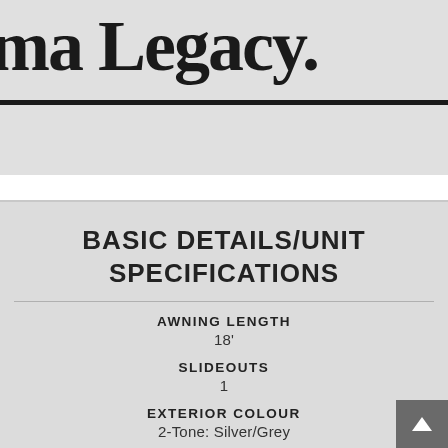[Figure (logo): Partial logo text reading 'ma Legacy.' in large bold serif font on a light grey background with a thick black underline]
BASIC DETAILS/UNIT SPECIFICATIONS
AWNING LENGTH
18'
SLIDEOUTS
1
EXTERIOR COLOUR
2-Tone: Silver/Grey